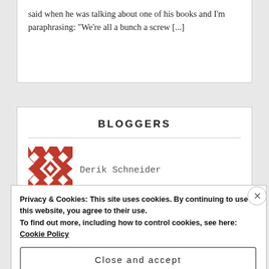said when he was talking about one of his books and I'm paraphrasing: "We're all a bunch a screw [...]
BLOGGERS
[Figure (logo): Red and white geometric diamond pattern square icon for blogger Derik Schneider]
Derik Schneider
CSI Las Vegas: 'Behind The Scenes– Willows in The Wind'
Privacy & Cookies: This site uses cookies. By continuing to use this website, you agree to their use.
To find out more, including how to control cookies, see here: Cookie Policy
Close and accept